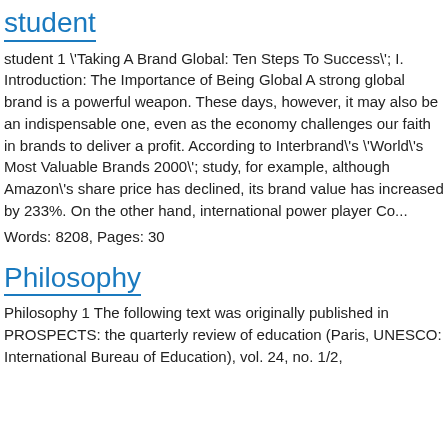student
student 1 \'Taking A Brand Global: Ten Steps To Success\'; I. Introduction: The Importance of Being Global A strong global brand is a powerful weapon. These days, however, it may also be an indispensable one, even as the economy challenges our faith in brands to deliver a profit. According to Interbrand\'s \'World\'s Most Valuable Brands 2000\'; study, for example, although Amazon\'s share price has declined, its brand value has increased by 233%. On the other hand, international power player Co...
Words: 8208, Pages: 30
Philosophy
Philosophy 1 The following text was originally published in PROSPECTS: the quarterly review of education (Paris, UNESCO: International Bureau of Education), vol. 24, no. 1/2,